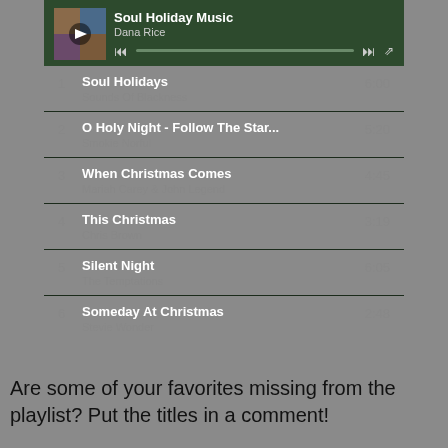[Figure (screenshot): Spotify-like music player showing Soul Holiday Music playlist by Dana Rice with playback controls]
1   Soul Holidays   6:00
Sounds Of Blackness
2   O Holy Night - Follow The Star...   5:20
Smokie Norful
3   When Christmas Comes   4:45
Mariah Carey & John Legend
4   This Christmas   3:19
Chris Brown
5   Silent Night   6:05
The Temptations
6   Someday At Christmas   2:48
Stevie Wonder
Are some of your favorites missing from the playlist? Put the titles in a comment!